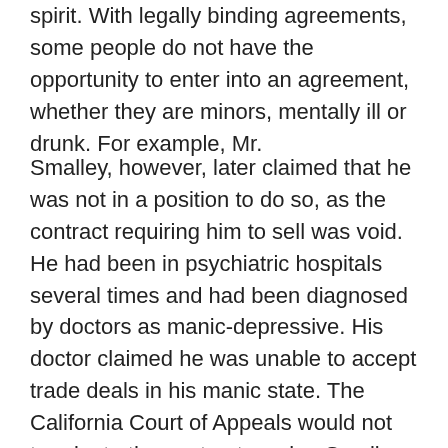spirit. With legally binding agreements, some people do not have the opportunity to enter into an agreement, whether they are minors, mentally ill or drunk. For example, Mr.
Smalley, however, later claimed that he was not in a position to do so, as the contract requiring him to sell was void. He had been in psychiatric hospitals several times and had been diagnosed by doctors as manic-depressive. His doctor claimed he was unable to accept trade deals in his manic state. The California Court of Appeals would not terminate the contract, saying Smalley could enter into contracts in its manic state. If an agreement is entered into with a person who does not have the legal capacity to enter into